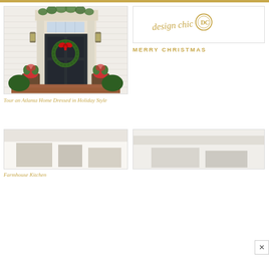[Figure (photo): Holiday decorated front door of an Atlanta home with Christmas wreath with red bow, flanking lanterns, holiday planters, ivy over doorframe, boxwood shrubs]
[Figure (logo): Design Chic logo — gold script text 'design chic' with circular DC monogram emblem in gold]
MERRY CHRISTMAS
Tour an Atlanta Home Dressed in Holiday Style
[Figure (photo): Farmhouse kitchen image (partially visible, mostly white/light colored)]
[Figure (photo): Right side image, partially cut off]
Farmhouse Kitchen